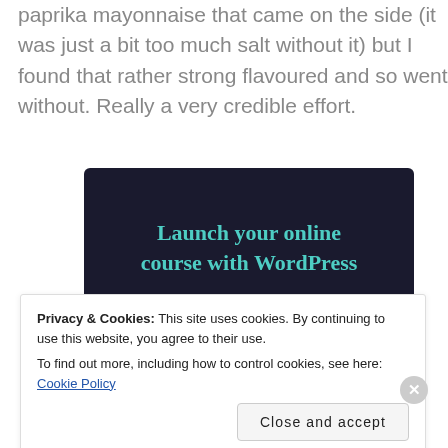paprika mayonnaise that came on the side (it was just a bit too much salt without it) but I found that rather strong flavoured and so went without. Really a very credible effort.
[Figure (screenshot): Advertisement banner: dark navy background with teal text 'Launch your online course with WordPress' and a teal 'Learn More' button.]
Privacy & Cookies: This site uses cookies. By continuing to use this website, you agree to their use.
To find out more, including how to control cookies, see here: Cookie Policy